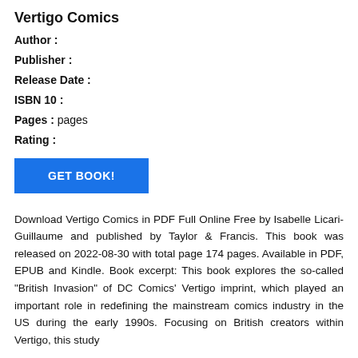Vertigo Comics
Author :
Publisher :
Release Date :
ISBN 10 :
Pages : pages
Rating :
GET BOOK!
Download Vertigo Comics in PDF Full Online Free by Isabelle Licari-Guillaume and published by Taylor & Francis. This book was released on 2022-08-30 with total page 174 pages. Available in PDF, EPUB and Kindle. Book excerpt: This book explores the so-called "British Invasion" of DC Comics' Vertigo imprint, which played an important role in redefining the mainstream comics industry in the US during the early 1990s. Focusing on British creators within Vertigo, this study